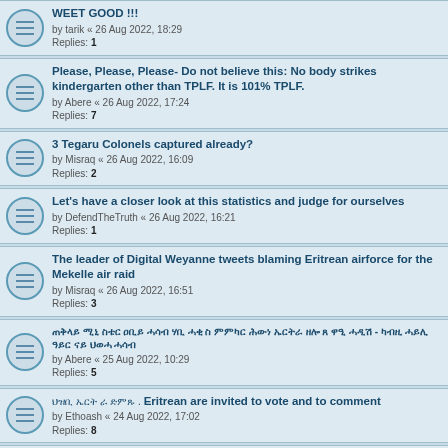WEET GOOD !!! by tarik « 26 Aug 2022, 18:29 Replies: 1
Please, Please, Please- Do not believe this: No body strikes kindergarten other than TPLF. It is 101% TPLF. by Abere « 26 Aug 2022, 17:24 Replies: 7
3 Tegaru Colonels captured already? by Misraq « 26 Aug 2022, 16:09 Replies: 2
Let's have a closer look at this statistics and judge for ourselves by DefendTheTruth « 26 Aug 2022, 16:21 Replies: 1
The leader of Digital Weyanne tweets blaming Eritrean airforce for the Mekelle air raid by Misraq « 26 Aug 2022, 16:51 Replies: 3
[Amharic text] by Abere « 25 Aug 2022, 10:29 Replies: 5
[Amharic text] . Eritrean are invited to vote and to comment by Ethoash « 24 Aug 2022, 17:02 Replies: 8
"I condemn today's air strikes in Mekelle. Civilians are Not a Target!" European Union by sarcasm « 26 Aug 2022, 17:07
[Amharic text] Death By A Thousand Cuts by Ethoash « 26 Aug 2022, 15:46 Replies: 1